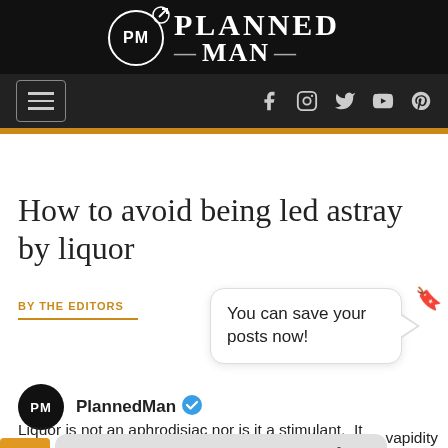[Figure (logo): Planned Man website logo on black background with PM circle and arrow, social media icons nav bar]
How to avoid being led astray by liquor
BY THE EDITORS
You can save your posts now!
PlannedMan
Liquor is not an aphrodisiac nor is it a stimulant.  It
Install this web app on your iPhone. Tap and then Add to Home Screen.